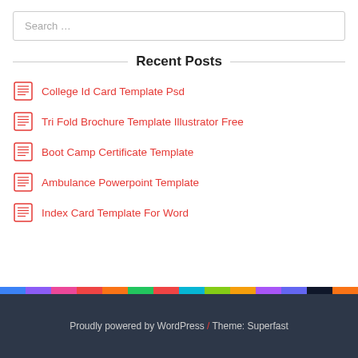Search …
Recent Posts
College Id Card Template Psd
Tri Fold Brochure Template Illustrator Free
Boot Camp Certificate Template
Ambulance Powerpoint Template
Index Card Template For Word
Proudly powered by WordPress / Theme: Superfast